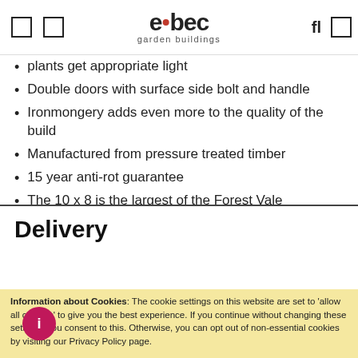elbec garden buildings
plants get appropriate light
Double doors with surface side bolt and handle
Ironmongery adds even more to the quality of the build
Manufactured from pressure treated timber
15 year anti-rot guarantee
The 10 x 8 is the largest of the Forest Vale Greenhouse range
Free UK mainland delivery and installation included in the price
Delivery
Information about Cookies: The cookie settings on this website are set to 'allow all cookies' to give you the best experience. If you continue without changing these settings, you consent to this. Otherwise, you can opt out of non-essential cookies by visiting our Privacy Policy page.